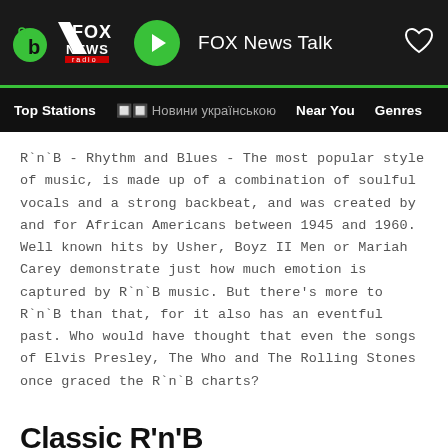FOX News Talk
Top Stations   🔲🔲 Новини українською   Near You   Genres
R`n`B - Rhythm and Blues - The most popular style of music, is made up of a combination of soulful vocals and a strong backbeat, and was created by and for African Americans between 1945 and 1960. Well known hits by Usher, Boyz II Men or Mariah Carey demonstrate just how much emotion is captured by R`n`B music. But there's more to R`n`B than that, for it also has an eventful past. Who would have thought that even the songs of Elvis Presley, The Who and The Rolling Stones once graced the R`n`B charts?
Classic R'n'B
The harbingers of R`n`B were jazz and blues, found in the cities of the United States during the early twentieth century, and well received among the growing African American population in the cities...